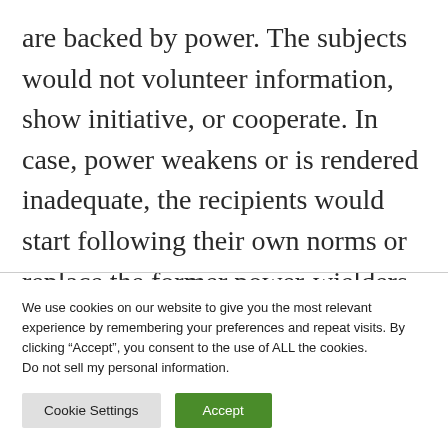are backed by power. The subjects would not volunteer information, show initiative, or cooperate. In case, power weakens or is rendered inadequate, the recipients would start following their own norms or replace the former power-wielders from positions of authority.
We use cookies on our website to give you the most relevant experience by remembering your preferences and repeat visits. By clicking “Accept”, you consent to the use of ALL the cookies. Do not sell my personal information.